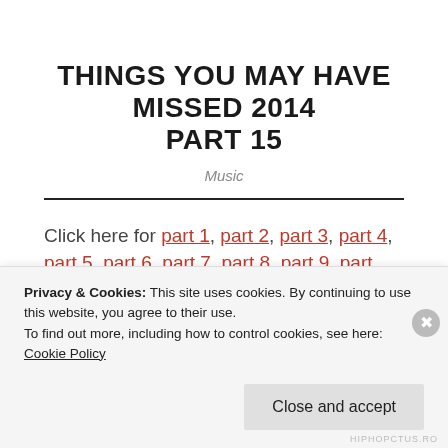THINGS YOU MAY HAVE MISSED 2014 PART 15
Music
Click here for part 1, part 2, part 3, part 4, part 5, part 6, part 7, part 8, part 9, part 10, part 11, part 12, part 13 and part 14
Statik Selektah – What Goes Around
Privacy & Cookies: This site uses cookies. By continuing to use this website, you agree to their use. To find out more, including how to control cookies, see here: Cookie Policy